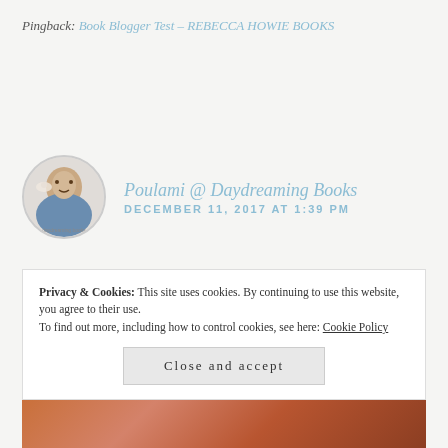Pingback: Book Blogger Test – REBECCA HOWIE BOOKS
Poulami @ Daydreaming Books
DECEMBER 11, 2017 AT 1:39 PM
I could so relate! ❤
And, YES, you need to finish that drama!!!!
Privacy & Cookies: This site uses cookies. By continuing to use this website, you agree to their use.
To find out more, including how to control cookies, see here: Cookie Policy
Close and accept